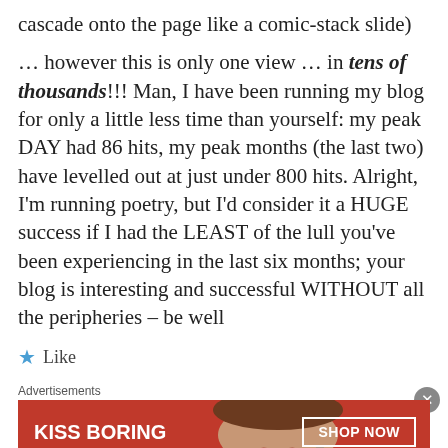cascade onto the page like a comic-stack slide)
… however this is only one view … in tens of thousands!!! Man, I have been running my blog for only a little less time than yourself: my peak DAY had 86 hits, my peak months (the last two) have levelled out at just under 800 hits. Alright, I'm running poetry, but I'd consider it a HUGE success if I had the LEAST of the lull you've been experiencing in the last six months; your blog is interesting and successful WITHOUT all the peripheries – be well
Like
Advertisements
[Figure (other): Macy's advertisement banner with red background, woman's lips, text 'KISS BORING LIPS GOODBYE', and a 'SHOP NOW' button with the Macy's star logo.]